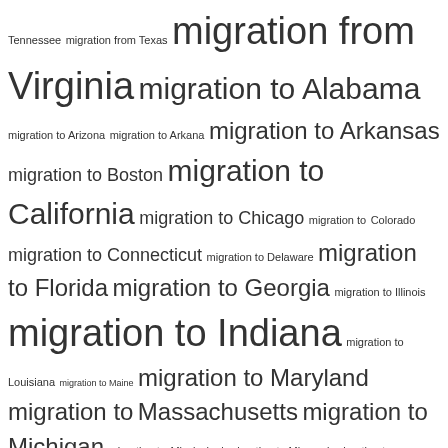[Figure (other): Tag cloud of migration-related search terms with font sizes indicating relative frequency/importance. Terms include various US state and city migration terms, military terms, and other words.]